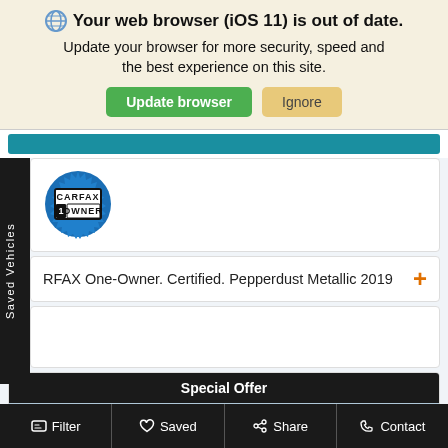🌐 Your web browser (iOS 11) is out of date. Update your browser for more security, speed and the best experience on this site.
Update browser | Ignore
[Figure (logo): CARFAX 1 OWNER badge logo — blue circular badge with white/black interior showing CARFAX on top row and 1OWNER on bottom row in block letters]
RFAX One-Owner. Certified. Pepperdust Metallic 2019
Saved Vehicles
Special Offer
[Figure (photo): Kia dealership exterior photo — parking lot with Kia sign, red overhang, trees in background]
Filter | Saved | Share | Contact